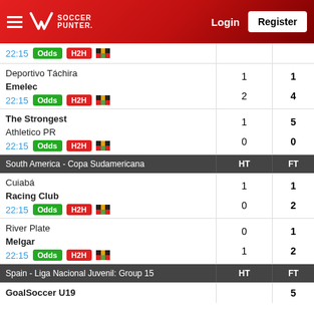[Figure (screenshot): SoccerPunter website header with logo, Login and Register buttons on red gradient background]
| Match | HT | FT |
| --- | --- | --- |
| 22:15 | Odds | H2H | [flag] |  |  |
| Deportivo Táchira | 1 | 1 |
| Emelec | 22:15 | Odds | H2H | [flag] | 2 | 4 |
| The Strongest | 1 | 5 |
| Athletico PR | 22:15 | Odds | H2H | [flag] | 0 | 0 |
| South America - Copa Sudamericana | HT | FT |
| Cuiabá | 1 | 1 |
| Racing Club | 22:15 | Odds | H2H | [flag] | 0 | 2 |
| River Plate | 0 | 1 |
| Melgar | 22:15 | Odds | H2H | [flag] | 1 | 2 |
| Spain - Liga Nacional Juvenil: Group 15 | HT | FT |
| GoalSoccer U19 |  | 5 |